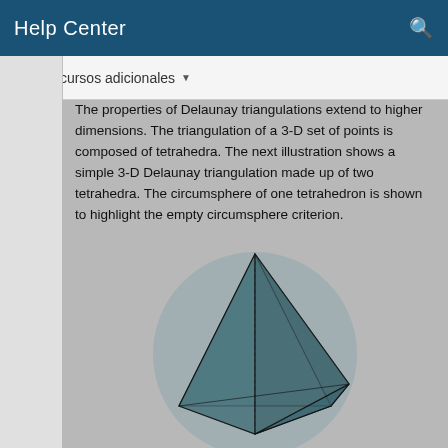Help Center
Recursos adicionales
The properties of Delaunay triangulations extend to higher dimensions. The triangulation of a 3-D set of points is composed of tetrahedra. The next illustration shows a simple 3-D Delaunay triangulation made up of two tetrahedra. The circumsphere of one tetrahedron is shown to highlight the empty circumsphere criterion.
[Figure (illustration): 3-D Delaunay triangulation showing two tetrahedra inside a circumsphere (gray sphere). The tetrahedra are rendered with dark teal/gray faces and black edges, illustrating the empty circumsphere criterion.]